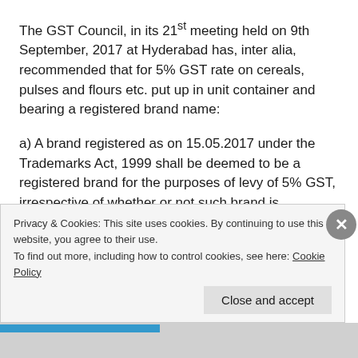The GST Council, in its 21st meeting held on 9th September, 2017 at Hyderabad has, inter alia, recommended that for 5% GST rate on cereals, pulses and flours etc. put up in unit container and bearing a registered brand name:
a) A brand registered as on 15.05.2017 under the Trademarks Act, 1999 shall be deemed to be a registered brand for the purposes of levy of 5% GST, irrespective of whether or not such brand is subsequently deregistered.
b) A brand registered as on 15.05.2017 under the Copyright Act, 1957 shall also be treated as a registered
Privacy & Cookies: This site uses cookies. By continuing to use this website, you agree to their use.
To find out more, including how to control cookies, see here: Cookie Policy
Close and accept